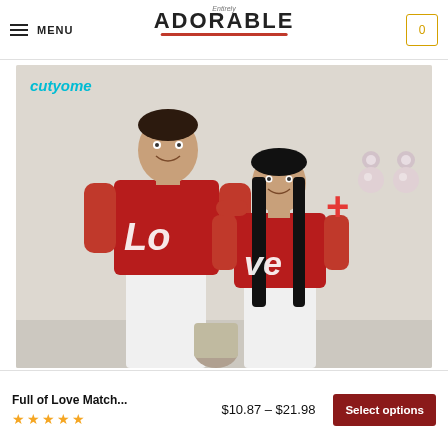MENU | Entirely Adorable | Cart (0)
[Figure (photo): Couple wearing matching red 'Love' t-shirts with a child, shown with pearl earrings. Brand label 'cutyome' in top left corner.]
Full of Love Match...
★★★★★
$10.87 – $21.98
Select options